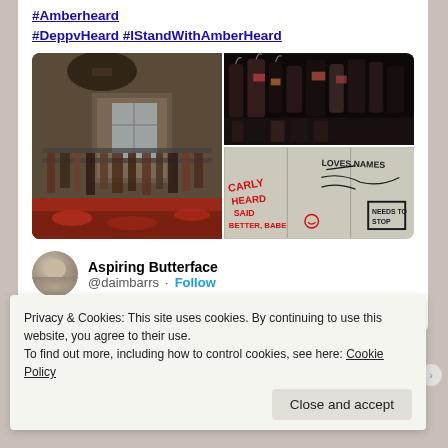#Amberheard
#DeppvHeard #IStandWithAmberHeard
[Figure (photo): Three-panel collage: left panel shows a cluttered room with clothing racks and reddish floor, top-right panel shows dark clothing on hangers, bottom-right panel shows a wall/window with red and black graffiti writing]
Aspiring Butterface
@daimbarrs · Follow
[Figure (photo): Partial preview strip of another tweet, gold/orange colored]
Privacy & Cookies: This site uses cookies. By continuing to use this website, you agree to their use.
To find out more, including how to control cookies, see here: Cookie Policy
Close and accept